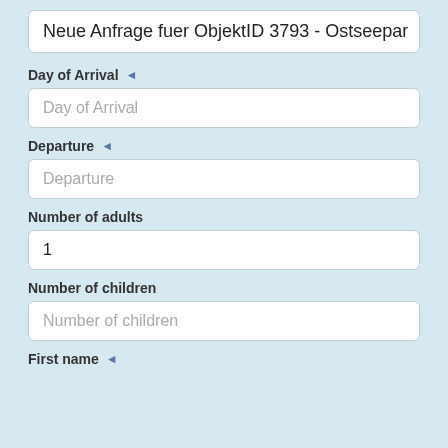Neue Anfrage fuer ObjektID 3793 - Ostseepar
Day of Arrival ◄
Day of Arrival (placeholder)
Departure ◄
Departure (placeholder)
Number of adults
1
Number of children
Number of children (placeholder)
First name ◄